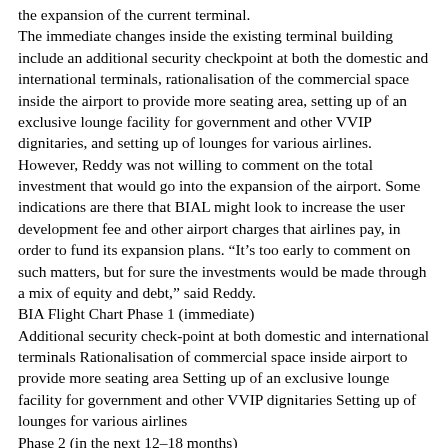the expansion of the current terminal.
The immediate changes inside the existing terminal building include an additional security checkpoint at both the domestic and international terminals, rationalisation of the commercial space inside the airport to provide more seating area, setting up of an exclusive lounge facility for government and other VVIP dignitaries, and setting up of lounges for various airlines.
However, Reddy was not willing to comment on the total investment that would go into the expansion of the airport. Some indications are there that BIAL might look to increase the user development fee and other airport charges that airlines pay, in order to fund its expansion plans. “It’s too early to comment on such matters, but for sure the investments would be made through a mix of equity and debt,” said Reddy.
BIA Flight Chart Phase 1 (immediate)
Additional security check-point at both domestic and international terminals Rationalisation of commercial space inside airport to provide more seating area Setting up of an exclusive lounge facility for government and other VVIP dignitaries Setting up of lounges for various airlines
Phase 2 (in the next 12–18 months)